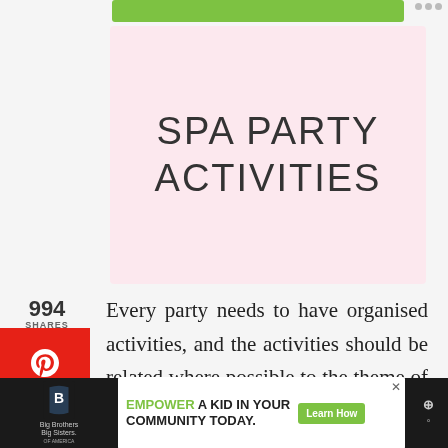[Figure (other): Green advertisement banner at top, partially cropped]
SPA PARTY ACTIVITIES
994 SHARES
Every party needs to have organised activities, and the activities should be related where possible to the theme of the party. In the case of a spa party, the activities are easy to organize.
[Figure (other): Bottom advertisement bar: Big Brothers Big Sisters logo, 'EMPOWER A KID IN YOUR COMMUNITY TODAY.' with Learn How button]